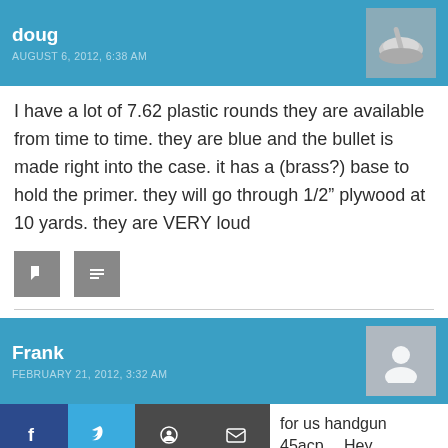doug — AUGUST 6, 2012, 6:38 AM
I have a lot of 7.62 plastic rounds they are available from time to time. they are blue and the bullet is made right into the case. it has a (brass?) base to hold the primer. they will go through 1/2″ plywood at 10 yards. they are VERY loud
[Figure (other): Two small grey icon buttons (reply and bookmark)]
Frank — FEBRUARY 21, 2012, 3:32 AM
for us handgun 45acp… Hey..
[Figure (other): Social share bar with Facebook, Twitter, Reddit, and email icons]